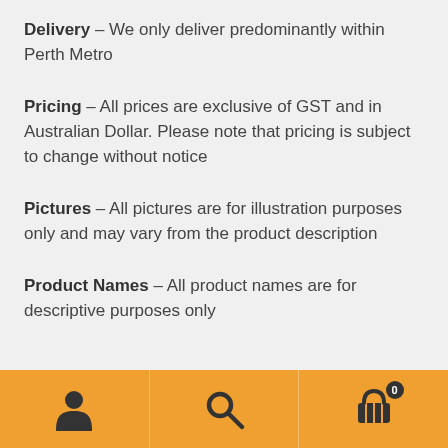Delivery – We only deliver predominantly within Perth Metro
Pricing – All prices are exclusive of GST and in Australian Dollar. Please note that pricing is subject to change without notice
Pictures – All pictures are for illustration purposes only and may vary from the product description
Product Names – All product names are for descriptive purposes only
[Figure (other): Orange footer navigation bar with three icons: person/account icon, search magnifier icon, and shopping cart icon with badge showing 0]